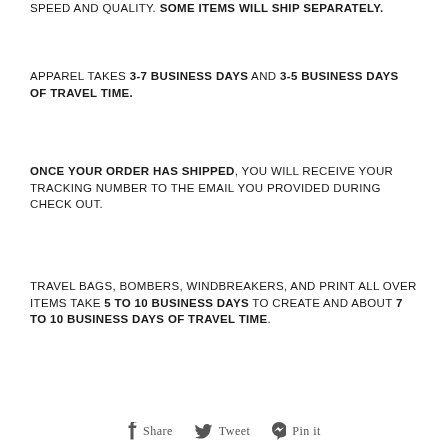SPEED AND QUALITY. SOME ITEMS WILL SHIP SEPARATELY.
APPAREL TAKES 3-7 BUSINESS DAYS AND 3-5 BUSINESS DAYS OF TRAVEL TIME.
ONCE YOUR ORDER HAS SHIPPED, YOU WILL RECEIVE YOUR TRACKING NUMBER TO THE EMAIL YOU PROVIDED DURING CHECK OUT.
TRAVEL BAGS, BOMBERS, WINDBREAKERS, AND PRINT ALL OVER ITEMS TAKE 5 TO 10 BUSINESS DAYS TO CREATE AND ABOUT 7 TO 10 BUSINESS DAYS OF TRAVEL TIME.
Share  Tweet  Pin it